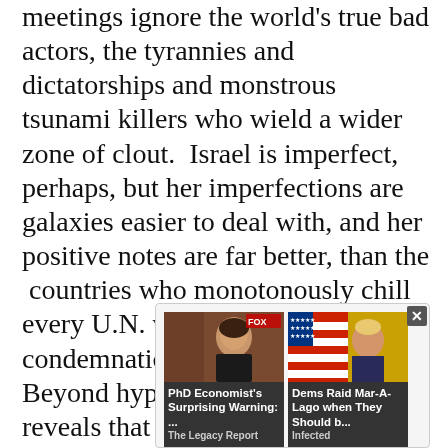meetings ignore the world's true bad actors, the tyrannies and dictatorships and monstrous tsunami killers who wield a wider zone of clout.  Israel is imperfect, perhaps, but her imperfections are galaxies easier to deal with, and her positive notes are far better, than the  countries who monotonously chill every U.N. vote and clamor for condemnation at all instances.  Beyond hypocrisy, a hard look reveals that the finger-pointing ought to  do a round robin and reach the sanctimonious who scruple against Israel.  Their records could do with a scrub.
[Figure (screenshot): Advertisement widget showing two ad cards side by side with a close button. Left card: image of a woman with text 'PhD Economist's Surprising Warning: ...' from 'The Legacy Report'. Right card: image of a man (appears to be Donald Trump) with American flag background and text 'Dems Raid Mar-A-Lago when They Should b...' from 'Infected'.]